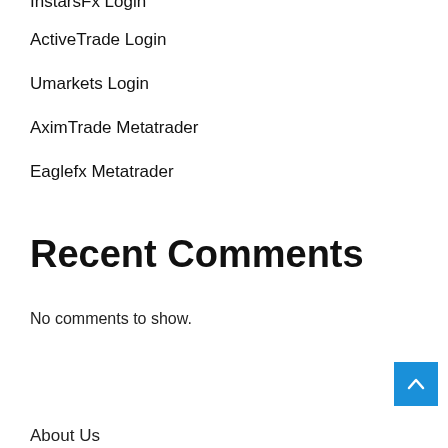InstarsFx Login
ActiveTrade Login
Umarkets Login
AximTrade Metatrader
Eaglefx Metatrader
Recent Comments
No comments to show.
About Us